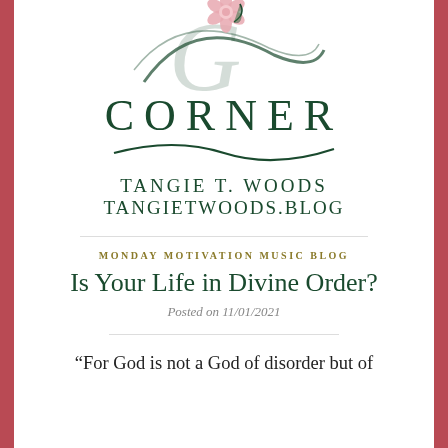[Figure (illustration): Decorative floral and cursive script logo with a pink flower and dark green swirling letter, above the word CORNER]
CORNER
TANGIE T. WOODS
TANGIETWOODS.BLOG
MONDAY MOTIVATION MUSIC BLOG
Is Your Life in Divine Order?
Posted on 11/01/2021
“For God is not a God of disorder but of